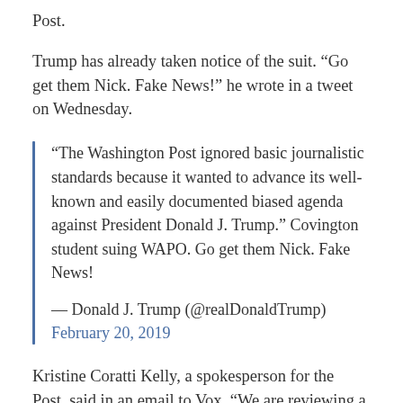Post.
Trump has already taken notice of the suit. “Go get them Nick. Fake News!” he wrote in a tweet on Wednesday.
“The Washington Post ignored basic journalistic standards because it wanted to advance its well-known and easily documented biased agenda against President Donald J. Trump.” Covington student suing WAPO. Go get them Nick. Fake News!
— Donald J. Trump (@realDonaldTrump) February 20, 2019
Kristine Coratti Kelly, a spokesperson for the Post, said in an email to Vox, “We are reviewing a copy of